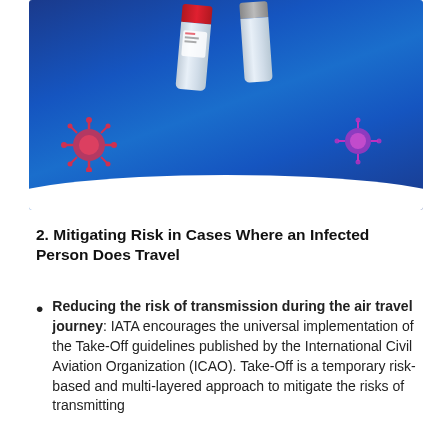[Figure (photo): A close-up photo of COVID-19 test tubes (one with a red cap, one with a grey cap) on a blue surface with decorative coronavirus particle imagery.]
2. Mitigating Risk in Cases Where an Infected Person Does Travel
Reducing the risk of transmission during the air travel journey: IATA encourages the universal implementation of the Take-Off guidelines published by the International Civil Aviation Organization (ICAO). Take-Off is a temporary risk-based and multi-layered approach to mitigate the risks of transmitting